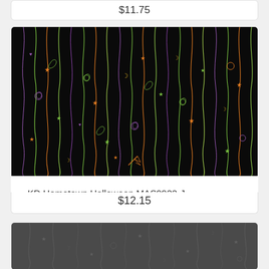$11.75
[Figure (photo): Black fabric with colorful Halloween-themed swirling lines, stars, moons, and small figures in green, orange, purple, and gold outline on black background]
KD Hometown Halloween MAS9922-J
$12.15
[Figure (photo): Dark gray fabric with subtle tonal Halloween-themed swirling lines, stars, moons, and small figures]